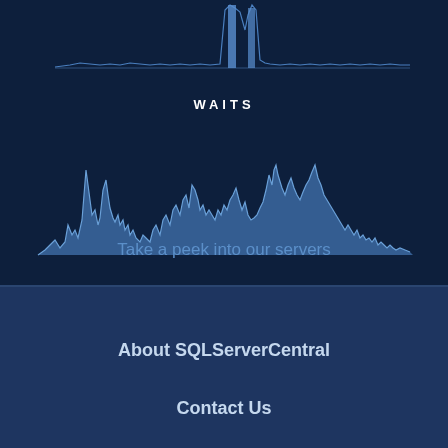[Figure (continuous-plot): Top waveform/sparkline chart showing server metric data with a prominent tall spike near the right-center area, rendered in blue on dark navy background]
WAITS
[Figure (continuous-plot): Bottom waveform/area chart showing 'waits' metric over time with multiple spikes of varying heights, rendered in blue on dark navy background]
Take a peek into our servers
About SQLServerCentral
Contact Us